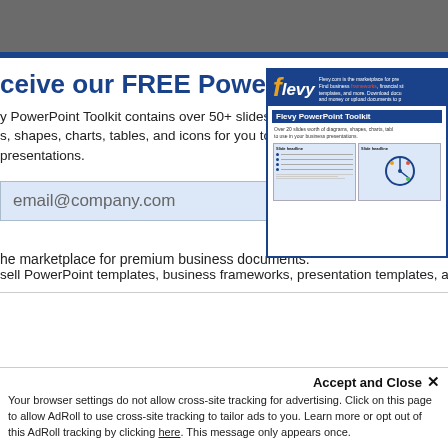ceive our FREE PowerPoint Toolki
y PowerPoint Toolkit contains over 50+ slides worth of s, shapes, charts, tables, and icons for you to use in your presentations.
[Figure (screenshot): Screenshot of Flevy PowerPoint Toolkit promotional image showing the Flevy logo, toolkit title, and sample slide thumbnails]
email@company.com  Send It
he marketplace for premium business documents.
sell PowerPoint templates, business frameworks, presentation templates, and more.
Accept and Close ✕
Your browser settings do not allow cross-site tracking for advertising. Click on this page to allow AdRoll to use cross-site tracking to tailor ads to you. Learn more or opt out of this AdRoll tracking by clicking here. This message only appears once.